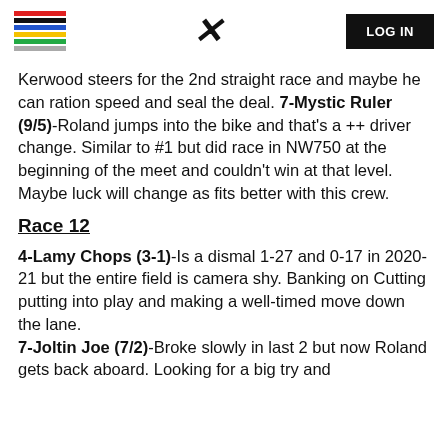LOG IN
Kerwood steers for the 2nd straight race and maybe he can ration speed and seal the deal. 7-Mystic Ruler (9/5)-Roland jumps into the bike and that's a ++ driver change. Similar to #1 but did race in NW750 at the beginning of the meet and couldn't win at that level. Maybe luck will change as fits better with this crew.
Race 12
4-Lamy Chops (3-1)-Is a dismal 1-27 and 0-17 in 2020-21 but the entire field is camera shy. Banking on Cutting putting into play and making a well-timed move down the lane. 7-Joltin Joe (7/2)-Broke slowly in last 2 but now Roland gets back aboard. Looking for a big try and